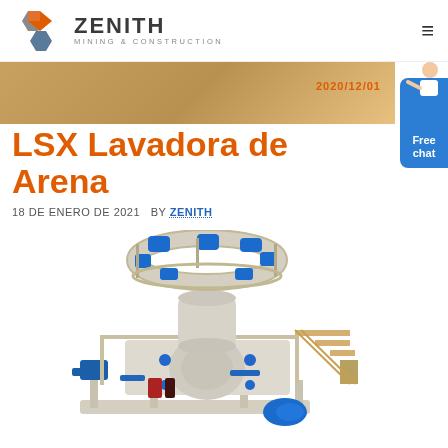[Figure (logo): Zenith Mining & Construction logo with interlocked hexagon shapes in blue, orange, and gray, followed by text ZENITH MINING & CONSTRUCTION]
[Figure (photo): Partial banner image showing yellow industrial machinery with date text 2020/12/01]
[Figure (illustration): Blue chat assistant button with Free chat label and person illustration]
LSX Lavadora de Arena
18 DE ENERO DE 2021  BY ZENITH
[Figure (photo): 3D rendering of LSX Sand Washer industrial machine, a large cream-colored and blue industrial washing machine with scaffolding and motors on top]